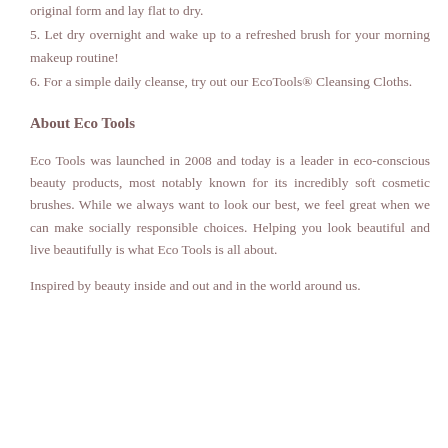original form and lay flat to dry.
5. Let dry overnight and wake up to a refreshed brush for your morning makeup routine!
6. For a simple daily cleanse, try out our EcoTools® Cleansing Cloths.
About Eco Tools
Eco Tools was launched in 2008 and today is a leader in eco-conscious beauty products, most notably known for its incredibly soft cosmetic brushes. While we always want to look our best, we feel great when we can make socially responsible choices. Helping you look beautiful and live beautifully is what Eco Tools is all about.
Inspired by beauty inside and out and in the world around us.